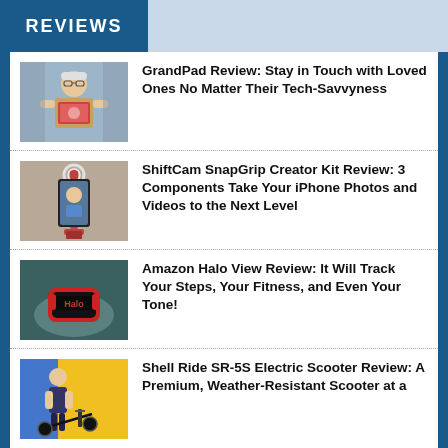REVIEWS
GrandPad Review: Stay in Touch with Loved Ones No Matter Their Tech-Savvyness
ShiftCam SnapGrip Creator Kit Review: 3 Components Take Your iPhone Photos and Videos to the Next Level
Amazon Halo View Review: It Will Track Your Steps, Your Fitness, and Even Your Tone!
Shell Ride SR-5S Electric Scooter Review: A Premium, Weather-Resistant Scooter at a